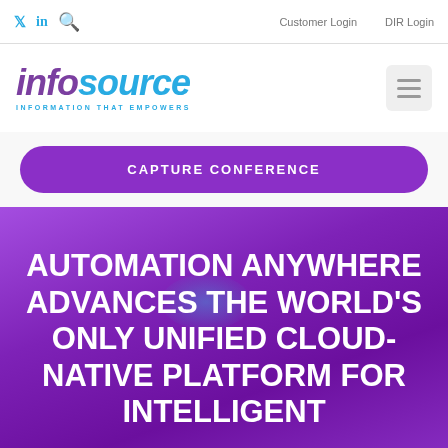Twitter | LinkedIn | Search | Customer Login | DIR Login
[Figure (logo): Infosource logo — 'info' in purple, 'source' in cyan, tagline 'INFORMATION THAT EMPOWERS' in cyan. Hamburger menu icon top right.]
CAPTURE CONFERENCE
AUTOMATION ANYWHERE ADVANCES THE WORLD'S ONLY UNIFIED CLOUD-NATIVE PLATFORM FOR INTELLIGENT